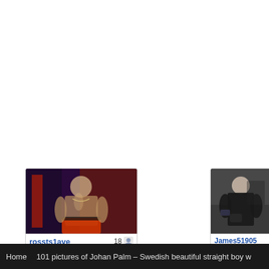[Figure (screenshot): Webcam thumbnail of user rossts1ave, shirtless person with red lighting and purple background]
rossts1ave  18 [avatar icon]
hello. i'm new, make me naked
[Figure (screenshot): Webcam thumbnail of user James51905, person in black t-shirt with tattoo, dark room background]
James51905
#straight #hung #fi...
Home  101 pictures of Johan Palm – Swedish beautiful straight boy w...